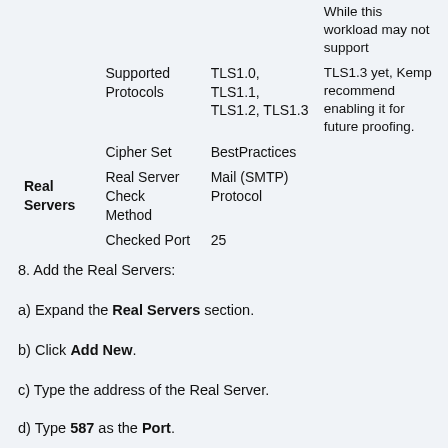|  | Field | Value | Note |
| --- | --- | --- | --- |
|  | Supported Protocols | TLS1.0, TLS1.1, TLS1.2, TLS1.3 | While this workload may not support TLS1.3 yet, Kemp recommend enabling it for future proofing. |
|  | Cipher Set | BestPractices |  |
| Real Servers | Real Server Check Method | Mail (SMTP) Protocol |  |
|  | Checked Port | 25 |  |
8. Add the Real Servers:
a) Expand the Real Servers section.
b) Click Add New.
c) Type the address of the Real Server.
d) Type 587 as the Port.